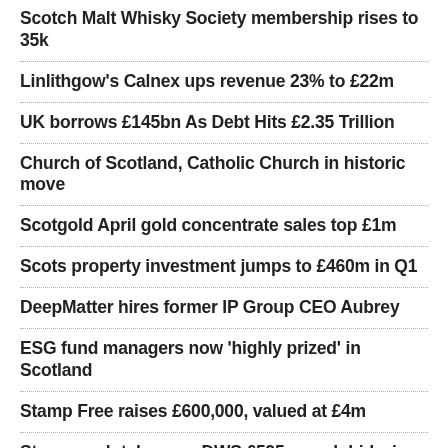Scotch Malt Whisky Society membership rises to 35k
Linlithgow's Calnex ups revenue 23% to £22m
UK borrows £145bn As Debt Hits £2.35 Trillion
Church of Scotland, Catholic Church in historic move
Scotgold April gold concentrate sales top £1m
Scots property investment jumps to £460m in Q1
DeepMatter hires former IP Group CEO Aubrey
ESG fund managers now 'highly prized' in Scotland
Stamp Free raises £600,000, valued at £4m
Stagecoach takeover: DWS £595m cash bid wins